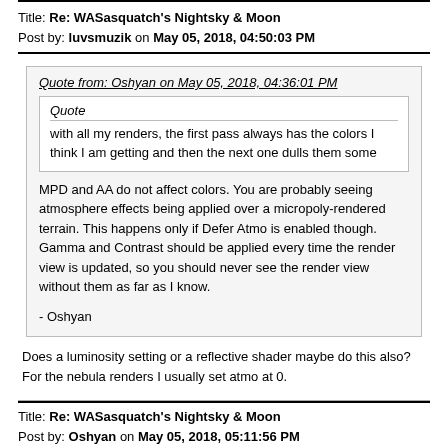Title: Re: WASasquatch's Nightsky & Moon
Post by: luvsmuzik on May 05, 2018, 04:50:03 PM
Quote from: Oshyan on May 05, 2018, 04:36:01 PM
Quote
with all my renders, the first pass always has the colors I think I am getting and then the next one dulls them some
MPD and AA do not affect colors. You are probably seeing atmosphere effects being applied over a micropoly-rendered terrain. This happens only if Defer Atmo is enabled though. Gamma and Contrast should be applied every time the render view is updated, so you should never see the render view without them as far as I know.

- Oshyan
Does a luminosity setting or a reflective shader maybe do this also? For the nebula renders I usually set atmo at 0.
Title: Re: WASasquatch's Nightsky & Moon
Post by: Oshyan on May 05, 2018, 05:11:56 PM